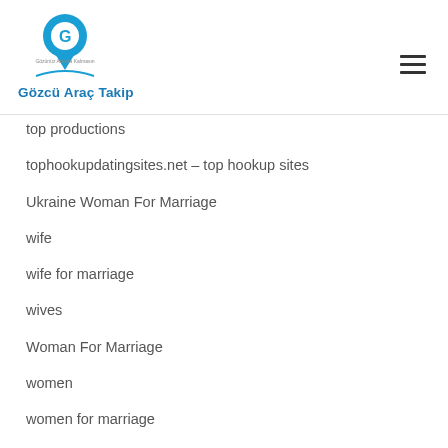[Figure (logo): Gözcü Araç Takip logo with a blue location pin icon containing a G letter, and text 'Gözünüz Arkada Kalmasın' and 'Gözcü Araç Takip' below]
top productions (partial, cut off at top)
tophookupdatingsites.net – top hookup sites
Ukraine Woman For Marriage
wife
wife for marriage
wives
Woman For Marriage
women
women for marriage
women sexy